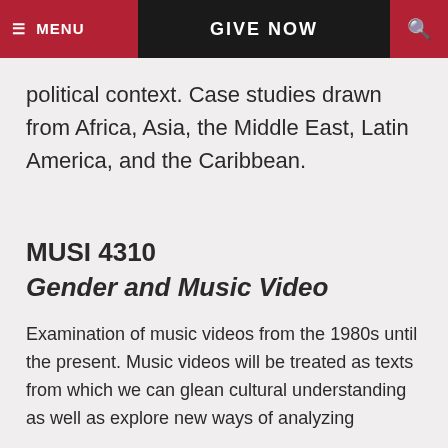MENU   GIVE NOW   [search]
political context. Case studies drawn from Africa, Asia, the Middle East, Latin America, and the Caribbean.
MUSI 4310
Gender and Music Video
Examination of music videos from the 1980s until the present. Music videos will be treated as texts from which we can glean cultural understanding as well as explore new ways of analyzing